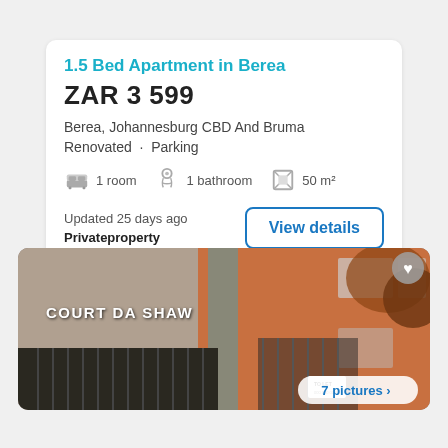1.5 Bed Apartment in Berea
ZAR 3 599
Berea, Johannesburg CBD And Bruma
Renovated · Parking
1 room   1 bathroom   50 m²
Updated 25 days ago
Privateproperty
[Figure (photo): Exterior photo of Court Da Shaw apartment building in Berea, showing an orange brick building with security gates, barred windows, and foliage. A 'To Let' sign is visible. Badge shows '7 pictures >']
7 pictures >